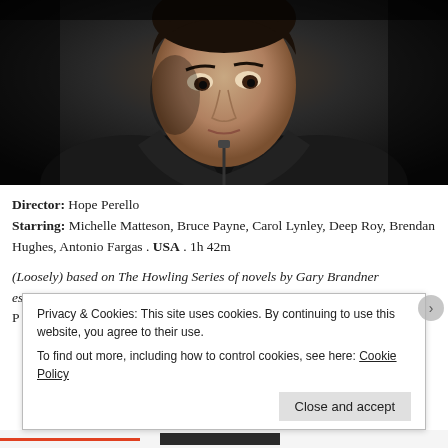[Figure (photo): Close-up photo of a man with dark hair wearing a dark jacket, looking downward with a serious expression against a dark background]
Director: Hope Perello
Starring: Michelle Matteson, Bruce Payne, Carol Lynley, Deep Roy, Brendan Hughes, Antonio Fargas . USA . 1h 42m
(Loosely) based on The Howling Series of novels by Gary Brandner especially Howling III Echoes
Privacy & Cookies: This site uses cookies. By continuing to use this website, you agree to their use. To find out more, including how to control cookies, see here: Cookie Policy
Close and accept